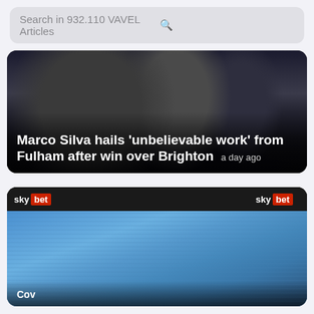Search in 932.110 VAVEL Articles
[Figure (photo): Marco Silva smiling on football pitch at night, players around him in dark stadium]
Marco Silva hails 'unbelievable work' from Fulham after win over Brighton  a day ago
[Figure (photo): Football fans in blue celebrating in stadium stands with Sky Bet advertising boards visible]
Partial headline text at bottom of second image